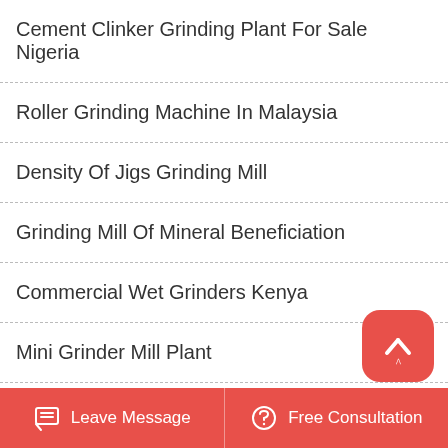Cement Clinker Grinding Plant For Sale Nigeria
Roller Grinding Machine In Malaysia
Density Of Jigs Grinding Mill
Grinding Mill Of Mineral Beneficiation
Commercial Wet Grinders Kenya
Mini Grinder Mill Plant
Stone Pulverizer Plant Investment Cost
[Figure (infographic): Back to top button: red rounded square with upward chevron arrow icon]
Leave Message   Free Consultation